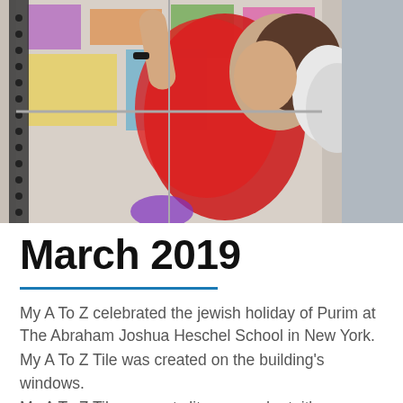[Figure (photo): A young girl in a red feathery costume drawing or writing on a window with colorful artwork visible; she has a white and black hair accessory and is holding a marker.]
March 2019
My A To Z celebrated the jewish holiday of Purim at The Abraham Joshua Heschel School in New York.
My A To Z Tile was created on the building's windows.
My A To Z Tile connects literacy and art, it's super easy and